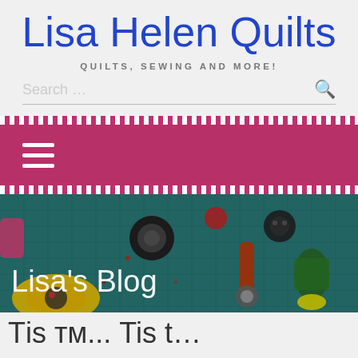Lisa Helen Quilts
QUILTS, SEWING AND MORE!
Search …
[Figure (screenshot): Navigation bar with hamburger menu icon on pink/crimson background with dashed white border stripes]
[Figure (photo): Photo of sewing and quilting tools on a teal cutting mat: tape measure, thread spools, scissors, buttons, rotary cutter. Text overlay reads 'Lisa's Blog']
Lisa's Blog
Tis t... (cut off heading)